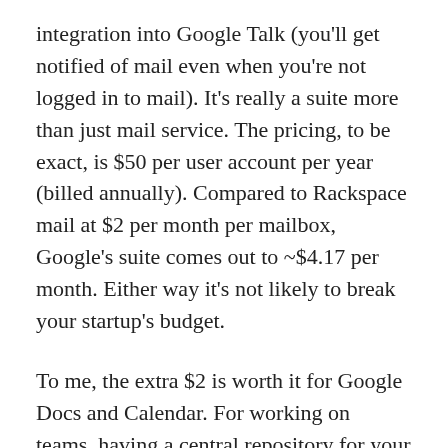integration into Google Talk (you'll get notified of mail even when you're not logged in to mail). It's really a suite more than just mail service. The pricing, to be exact, is $50 per user account per year (billed annually). Compared to Rackspace mail at $2 per month per mailbox, Google's suite comes out to ~$4.17 per month. Either way it's not likely to break your startup's budget.
To me, the extra $2 is worth it for Google Docs and Calendar. For working on teams, having a central repository for your super secret startup's super secret documents is great for sharing and collaboration. And it will save you from having to spend so much on a copy of Office for everyone. Then again, you could have everyone download